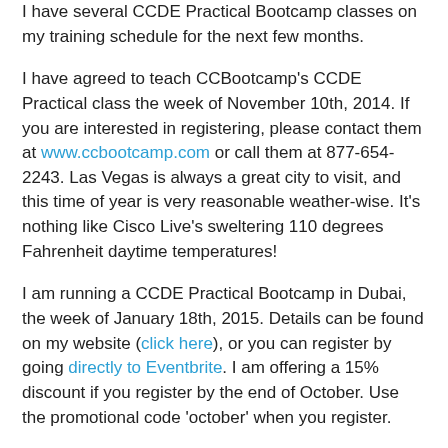I have several CCDE Practical Bootcamp classes on my training schedule for the next few months.
I have agreed to teach CCBootcamp's CCDE Practical class the week of November 10th, 2014. If you are interested in registering, please contact them at www.ccbootcamp.com or call them at 877-654-2243. Las Vegas is always a great city to visit, and this time of year is very reasonable weather-wise. It's nothing like Cisco Live's sweltering 110 degrees Fahrenheit daytime temperatures!
I am running a CCDE Practical Bootcamp in Dubai, the week of January 18th, 2015. Details can be found on my website (click here), or you can register by going directly to Eventbrite. I am offering a 15% discount if you register by the end of October. Use the promotional code 'october' when you register.
I also have a CCDE Practical Bootcamp class scheduled for the week of April 20th, 2015 in Orlando, Florida USA. Spring weather in Florida is nice, and the theme parks are great fun for the family, so considering bringing them along! Details